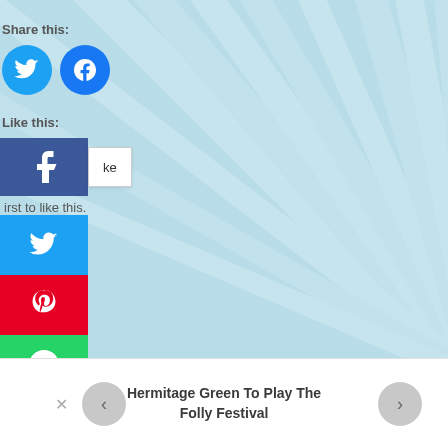[Figure (screenshot): Light blue sunburst / starburst background with radiating rays from center-bottom area]
Share this:
[Figure (infographic): Twitter circle button (blue) and Facebook circle button (blue)]
Like this:
[Figure (infographic): Facebook Like button widget with popup showing 'ke' text]
irst to like this.
[Figure (infographic): Side social share buttons: Twitter (blue), Pinterest (red), WhatsApp (green)]
Hermitage Green To Play The Folly Festival